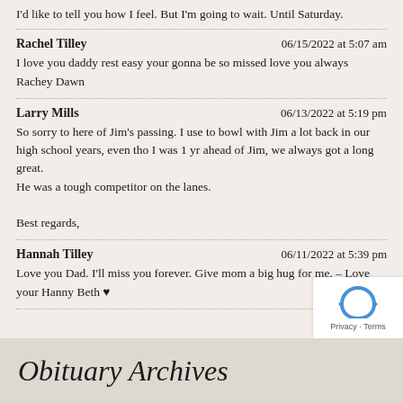I'd like to tell you how I feel. But I'm going to wait. Until Saturday.
Rachel Tilley — 06/15/2022 at 5:07 am
I love you daddy rest easy your gonna be so missed love you always Rachey Dawn
Larry Mills — 06/13/2022 at 5:19 pm
So sorry to here of Jim's passing. I use to bowl with Jim a lot back in our high school years, even tho I was 1 yr ahead of Jim, we always got a long great.
He was a tough competitor on the lanes.

Best regards,
Hannah Tilley — 06/11/2022 at 5:39 pm
Love you Dad. I'll miss you forever. Give mom a big hug for me. – Love your Hanny Beth ♥
Obituary Archives